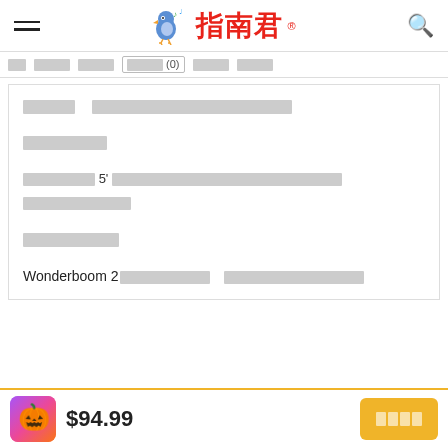指南君 (logo with bird) - navigation header with search icon
Navigation tabs: [active] [tab] [tab] [highlighted tab (0)] [tab] [tab]
[redacted content block 1 - heading line]
[redacted content - 7 character label]
[redacted content block - multi-line paragraph including 5']
[redacted content - 8 character label]
Wonderboom 2[redacted] [redacted]
$94.99 [product image] [buy button redacted]